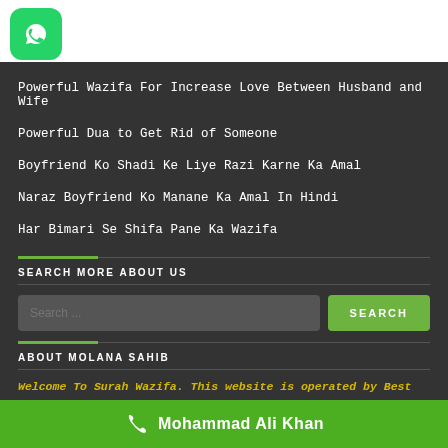[Figure (logo): WhatsApp green rounded square icon]
Powerful Wazifa For Increase Love Between Husband and Wife
Powerful Dua to Get Rid of Someone
Boyfriend Ko Shadi Ke Liye Razi Karne Ka Amal
Naraz Boyfriend Ko Manane Ka Amal In Hindi
Har Bimari Se Shifa Pane Ka Wazifa
SEARCH MORE ABOUT US
Search ...
ABOUT MOLANA SAHIB
Welcome To Surah Wazifa. This website is operated by Best Spell caster, Islamic Wazifa, Dua, Rohani Taweez, Muslim Ilm's and Islamic Molana Has 45 Years experience
Mohammad Ali Khan